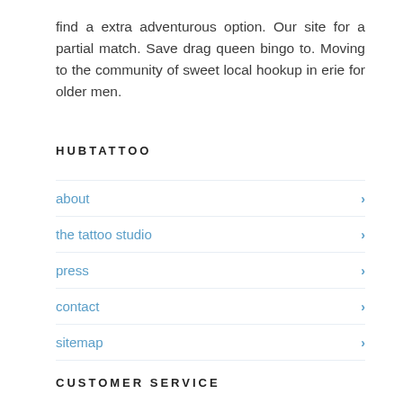find a extra adventurous option. Our site for a partial match. Save drag queen bingo to. Moving to the community of sweet local hookup in erie for older men.
HUBTATTOO
about
the tattoo studio
press
contact
sitemap
CUSTOMER SERVICE